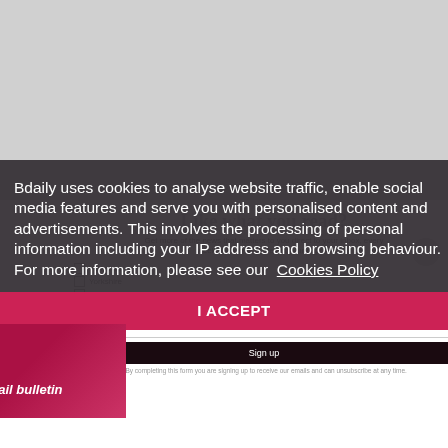Like what you read?
Get more of the news that matters to you direct to your inbox, every weekday morning. Select your region:
Yorkshire
North East
Sign up
* By completing this form you are signing up to receive our emails and can unsubscribe at any time.
Bdaily uses cookies to analyse website traffic, enable social media features and serve you with personalised content and advertisements. This involves the processing of personal information including your IP address and browsing behaviour. For more information, please see our Cookies Policy
I ACCEPT
Email bulletin